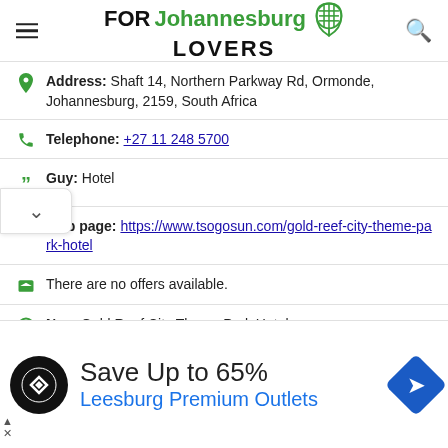FORJohannesburgLOVERS
Address: Shaft 14, Northern Parkway Rd, Ormonde, Johannesburg, 2159, South Africa
Telephone: +27 11 248 5700
Guy: Hotel
Web page: https://www.tsogosun.com/gold-reef-city-theme-park-hotel
There are no offers available.
Near Gold Reef City Theme Park Hotel:
a 53 meters away currency exchange offices in: Forex
[Figure (infographic): Advertisement banner: Save Up to 65% Leesburg Premium Outlets with logo and arrow icon]